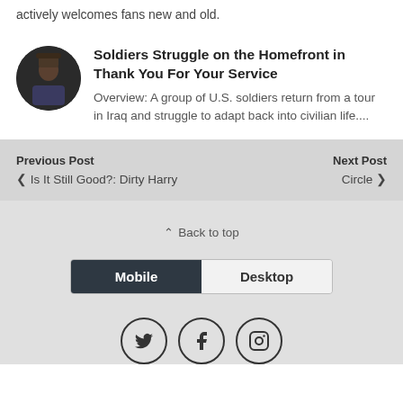actively welcomes fans new and old.
Soldiers Struggle on the Homefront in Thank You For Your Service
Overview: A group of U.S. soldiers return from a tour in Iraq and struggle to adapt back into civilian life....
Previous Post
< Is It Still Good?: Dirty Harry
Next Post
Circle >
^ Back to top
Mobile | Desktop
[Figure (other): Social media icons: Twitter, Facebook, Instagram in circular outlines]